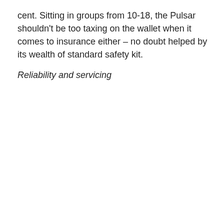cent. Sitting in groups from 10-18, the Pulsar shouldn't be too taxing on the wallet when it comes to insurance either – no doubt helped by its wealth of standard safety kit.
Reliability and servicing